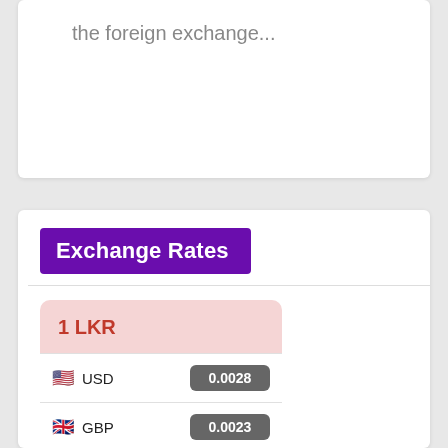the foreign exchange...
Exchange Rates
| Currency | Rate |
| --- | --- |
| 1 LKR |  |
| 🇺🇸 USD | 0.0028 |
| 🇬🇧 GBP | 0.0023 |
| 🇦🇺 AUD | 0.0040 |
| 🇨🇳 CNY | 0.0189 |
| 🇯🇵 JPY | 0.3797 |